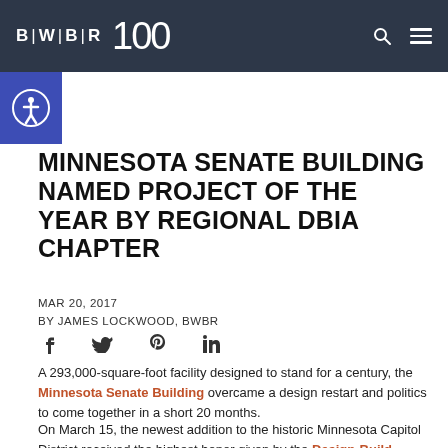BWBR 100 [logo header]
MINNESOTA SENATE BUILDING NAMED PROJECT OF THE YEAR BY REGIONAL DBIA CHAPTER
MAR 20, 2017
BY JAMES LOCKWOOD, BWBR
[Figure (other): Social sharing icons: Facebook, Twitter, Pinterest, LinkedIn]
A 293,000-square-foot facility designed to stand for a century, the Minnesota Senate Building overcame a design restart and politics to come together in a short 20 months.
On March 15, the newest addition to the historic Minnesota Capitol District received the highest honor given by the Design-Build Institute of America-Upper Midwest Region, named 2017 Project of the Year. The team honored included BWBR...